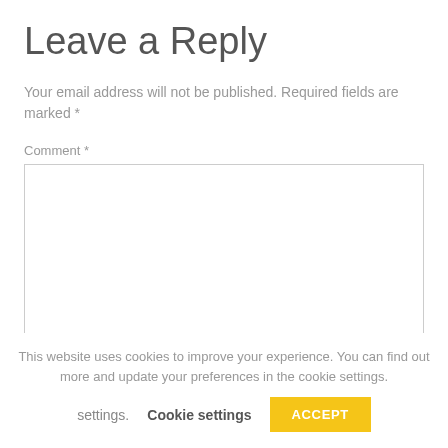Leave a Reply
Your email address will not be published. Required fields are marked *
Comment *
This website uses cookies to improve your experience. You can find out more and update your preferences in the cookie settings.
Cookie settings
ACCEPT